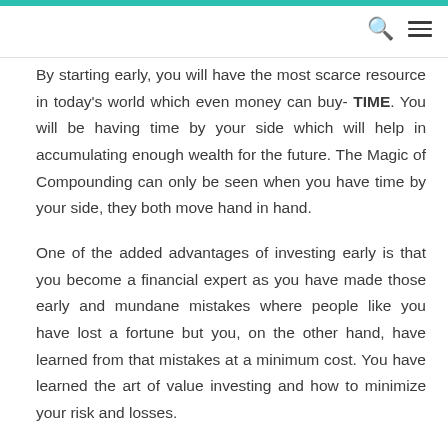By starting early, you will have the most scarce resource in today's world which even money can buy- TIME. You will be having time by your side which will help in accumulating enough wealth for the future. The Magic of Compounding can only be seen when you have time by your side, they both move hand in hand.
One of the added advantages of investing early is that you become a financial expert as you have made those early and mundane mistakes where people like you have lost a fortune but you, on the other hand, have learned from that mistakes at a minimum cost. You have learned the art of value investing and how to minimize your risk and losses.
Finding the money